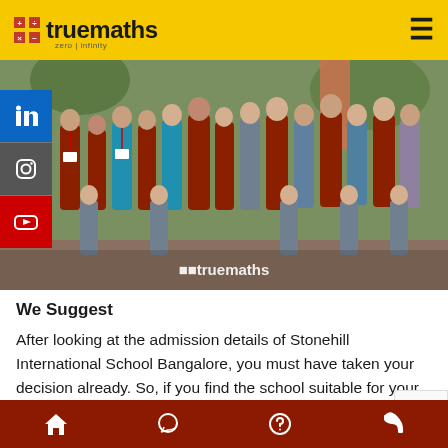truemaths — zero | infinity
[Figure (photo): Group photo of students and teachers at Stonehill International School Bangalore, with a truemaths watermark at the bottom]
We Suggest
After looking at the admission details of Stonehill International School Bangalore, you must have taken your decision already. So, if you find the school suitable for your child, then take the necessary s
Home | WhatsApp | Help | Phone